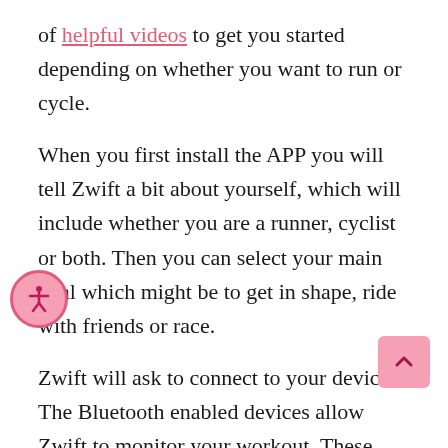of helpful videos to get you started depending on whether you want to run or cycle.
When you first install the APP you will tell Zwift a bit about yourself, which will include whether you are a runner, cyclist or both. Then you can select your main goal which might be to get in shape, ride with friends or race.
Zwift will ask to connect to your devices. The Bluetooth enabled devices allow Zwift to monitor your workout. These will include a speed sensor and power source device for bikes, plus an optional heart rate monitor.